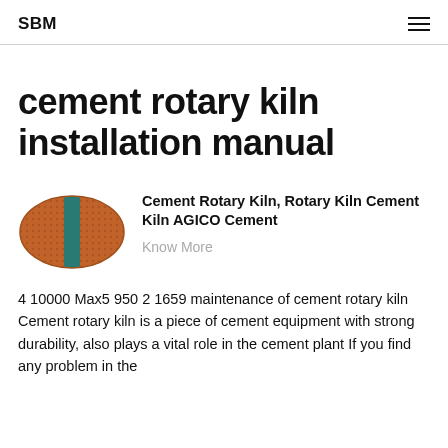SBM
cement rotary kiln installation manual
[Figure (photo): Oval-shaped cement rotary kiln component with orange/terracotta surface and a teal/green vertical stripe, viewed from the end.]
Cement Rotary Kiln, Rotary Kiln Cement Kiln AGICO Cement
Know More
4 10000 Max5 950 2 1659 maintenance of cement rotary kiln Cement rotary kiln is a piece of cement equipment with strong durability, also plays a vital role in the cement plant If you find any problem in the operation and it is predicted the...